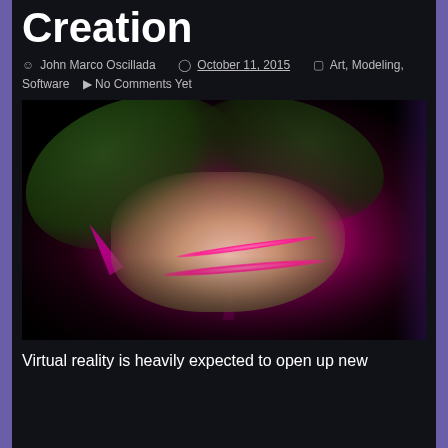Creation
John Marco Oscillada   October 11, 2015   Art, Modeling, Software   No Comments Yet
[Figure (photo): A dark photo of a glowing creature or sculpture with bright pink/magenta light emanating from its center, surrounded by green plant-like forms against a black background.]
Virtual reality is heavily expected to open up new